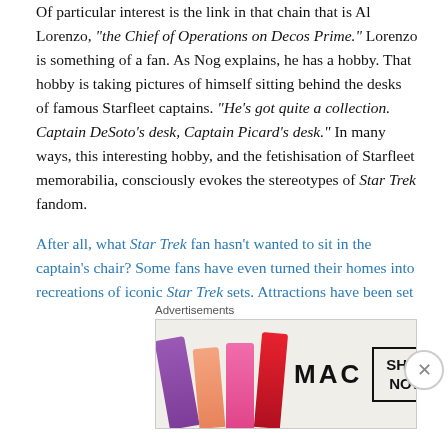Of particular interest is the link in that chain that is Al Lorenzo, "the Chief of Operations on Decos Prime." Lorenzo is something of a fan. As Nog explains, he has a hobby. That hobby is taking pictures of himself sitting behind the desks of famous Starfleet captains. "He's got quite a collection. Captain DeSoto's desk, Captain Picard's desk." In many ways, this interesting hobby, and the fetishisation of Starfleet memorabilia, consciously evokes the stereotypes of Star Trek fandom.
After all, what Star Trek fan hasn't wanted to sit in the captain's chair? Some fans have even turned their homes into recreations of iconic Star Trek sets. Attractions have been set up to allow fans to take pictures of themselves in
[Figure (other): MAC cosmetics advertisement showing lipsticks in purple, peach, pink, and red colors, with MAC logo and 'SHOP NOW' button. Labeled 'Advertisements' above.]